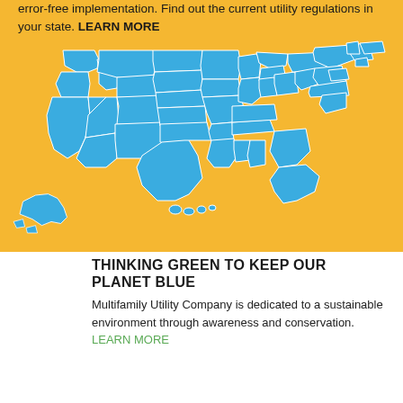error-free implementation. Find out the current utility regulations in your state. LEARN MORE
[Figure (map): Blue silhouette map of the United States including Alaska and Hawaii on a yellow/golden background, showing all 50 states with white outlines.]
THINKING GREEN TO KEEP OUR PLANET BLUE
[Figure (logo): Circular logo with green leaf and blue water/yin-yang swirl design representing environmental sustainability.]
Multifamily Utility Company is dedicated to a sustainable environment through awareness and conservation. LEARN MORE